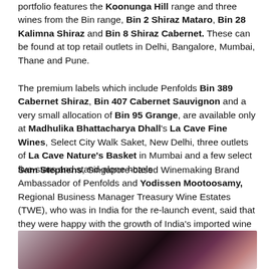portfolio features the Koonunga Hill range and three wines from the Bin range, Bin 2 Shiraz Mataro, Bin 28 Kalimna Shiraz and Bin 8 Shiraz Cabernet. These can be found at top retail outlets in Delhi, Bangalore, Mumbai, Thane and Pune.
The premium labels which include Penfolds Bin 389 Cabernet Shiraz, Bin 407 Cabernet Sauvignon and a very small allocation of Bin 95 Grange, are available only at Madhulika Bhattacharya Dhall's La Cave Fine Wines, Select City Walk Saket, New Delhi, three outlets of La Cave Nature's Basket in Mumbai and a few select five-stars and stand-alone hotels
Sam Stephens, Singapore-based Winemaking Brand Ambassador of Penfolds and Yodissen Mootoosamy, Regional Business Manager Treasury Wine Estates (TWE), who was in India for the re-launch event, said that they were happy with the growth of India's imported wine market and the demand for Australian wines, especially the interest shown in Penfolds.
[Figure (photo): Close-up photo of wine glasses with dark red wine, showing two glasses partially visible, with blurred dark background.]